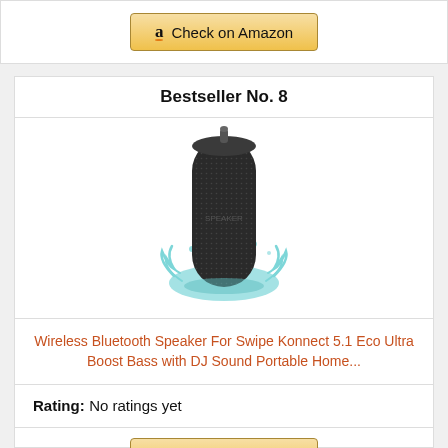[Figure (other): Amazon 'Check on Amazon' button at top of page]
Bestseller No. 8
[Figure (photo): Black cylindrical Bluetooth wireless speaker with water splash around its base]
Wireless Bluetooth Speaker For Swipe Konnect 5.1 Eco Ultra Boost Bass with DJ Sound Portable Home...
Rating: No ratings yet
[Figure (other): Amazon 'Check on Amazon' button at bottom of page]